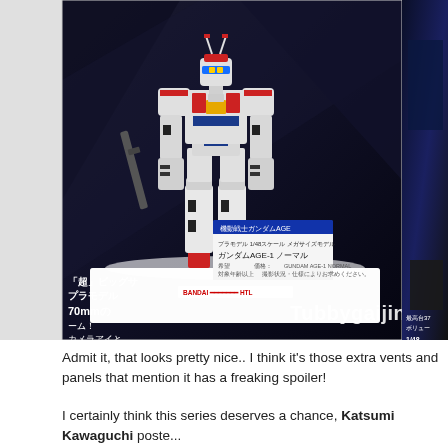[Figure (photo): Large Gundam AGE-1 Normal scale model on display stand with Japanese text signage and product label. Watermark reads Tubbygaijin.co.uk. A second partially visible photo appears on the right side showing another display.]
Admit it, that looks pretty nice.. I think it's those extra vents and panels that mention it has a freaking spoiler!
I certainly think this series deserves a chance, Katsumi Kawaguchi poste...